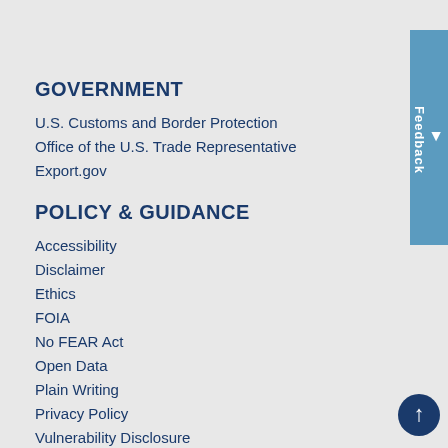GOVERNMENT
U.S. Customs and Border Protection
Office of the U.S. Trade Representative
Export.gov
POLICY & GUIDANCE
Accessibility
Disclaimer
Ethics
FOIA
No FEAR Act
Open Data
Plain Writing
Privacy Policy
Vulnerability Disclosure
CAREERS
Jobs